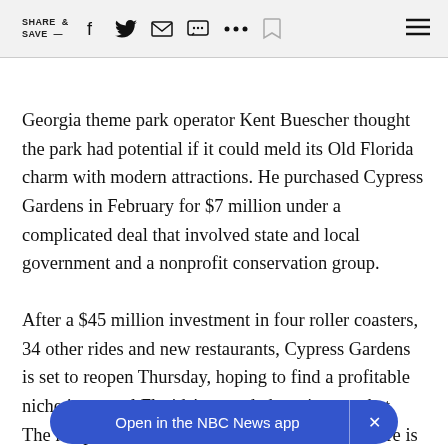SHARE & SAVE —
Georgia theme park operator Kent Buescher thought the park had potential if it could meld its Old Florida charm with modern attractions. He purchased Cypress Gardens in February for $7 million under a complicated deal that involved state and local government and a nonprofit conservation group.
After a $45 million investment in four roller coasters, 34 other rides and new restaurants, Cypress Gardens is set to reopen Thursday, hoping to find a profitable niche in central Florida's crowded tourism market. The hoop-skirted b[...] and the water skiers. There is even a new butterfly garden
[Figure (screenshot): NBC News app banner with 'Open in the NBC News app' text and close button]